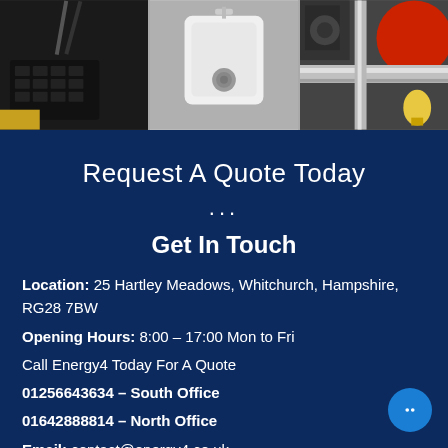[Figure (photo): Three-panel photo strip showing: left panel with calculator/keyboard, center panel with white kitchen sink, right panel with chrome equipment, red circle element, and light bulb]
Request A Quote Today
...
Get In Touch
Location: 25 Hartley Meadows, Whitchurch, Hampshire, RG28 7BW
Opening Hours: 8:00 – 17:00 Mon to Fri
Call Energy4 Today For A Quote
01256643634 – South Office
01642888814 – North Office
Email: contact@energy4.co.uk